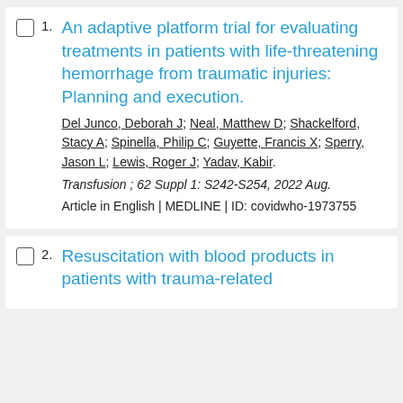1. An adaptive platform trial for evaluating treatments in patients with life-threatening hemorrhage from traumatic injuries: Planning and execution.
Del Junco, Deborah J; Neal, Matthew D; Shackelford, Stacy A; Spinella, Philip C; Guyette, Francis X; Sperry, Jason L; Lewis, Roger J; Yadav, Kabir.
Transfusion ; 62 Suppl 1: S242-S254, 2022 Aug.
Article in English | MEDLINE | ID: covidwho-1973755
2. Resuscitation with blood products in patients with trauma-related